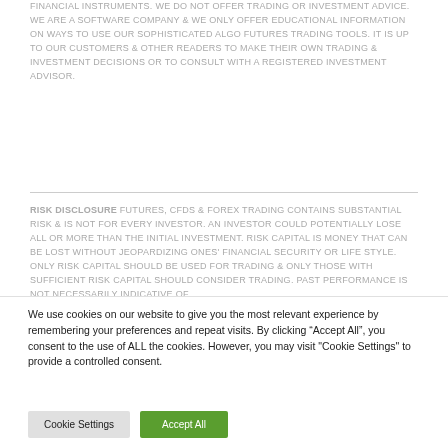FINANCIAL INSTRUMENTS. WE DO NOT OFFER TRADING OR INVESTMENT ADVICE. WE ARE A SOFTWARE COMPANY & WE ONLY OFFER EDUCATIONAL INFORMATION ON WAYS TO USE OUR SOPHISTICATED ALGO FUTURES TRADING TOOLS. IT IS UP TO OUR CUSTOMERS & OTHER READERS TO MAKE THEIR OWN TRADING & INVESTMENT DECISIONS OR TO CONSULT WITH A REGISTERED INVESTMENT ADVISOR.
RISK DISCLOSURE FUTURES, CFDS & FOREX TRADING CONTAINS SUBSTANTIAL RISK & IS NOT FOR EVERY INVESTOR. AN INVESTOR COULD POTENTIALLY LOSE ALL OR MORE THAN THE INITIAL INVESTMENT. RISK CAPITAL IS MONEY THAT CAN BE LOST WITHOUT JEOPARDIZING ONES' FINANCIAL SECURITY OR LIFE STYLE. ONLY RISK CAPITAL SHOULD BE USED FOR TRADING & ONLY THOSE WITH SUFFICIENT RISK CAPITAL SHOULD CONSIDER TRADING. PAST PERFORMANCE IS NOT NECESSARILY INDICATIVE OF
We use cookies on our website to give you the most relevant experience by remembering your preferences and repeat visits. By clicking "Accept All", you consent to the use of ALL the cookies. However, you may visit "Cookie Settings" to provide a controlled consent.